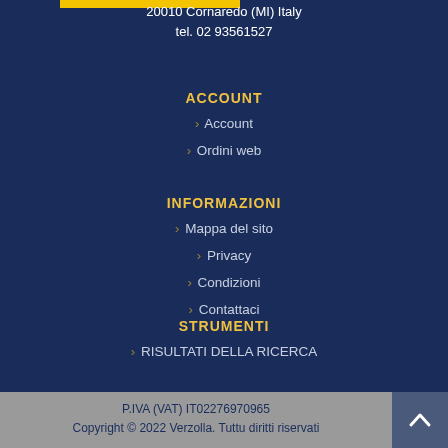20010 Cornaredo (MI) Italy
tel. 02 93561527
ACCOUNT
> Account
> Ordini web
INFORMAZIONI
> Mappa del sito
> Privacy
> Condizioni
> Contattaci
STRUMENTI
> RISULTATI DELLA RICERCA
P.IVA (VAT) IT02276970965
Copyright © 2022 Verzolla. Tuttu diritti riservati